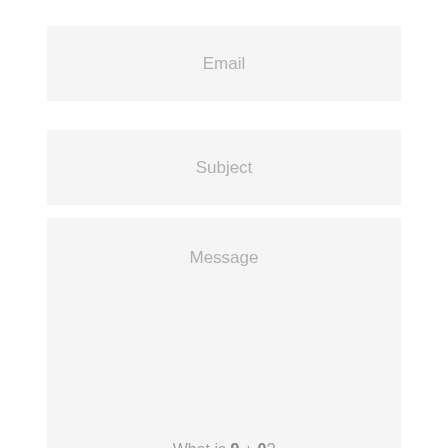Email
Subject
Message
What is 9 + 0?